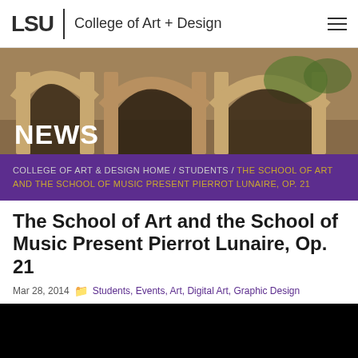LSU | College of Art + Design
[Figure (photo): Hero image of stone archways on the LSU campus with trees visible through arches. White 'NEWS' text overlaid on lower left.]
COLLEGE OF ART & DESIGN HOME / STUDENTS / THE SCHOOL OF ART AND THE SCHOOL OF MUSIC PRESENT PIERROT LUNAIRE, OP. 21
The School of Art and the School of Music Present Pierrot Lunaire, Op. 21
Mar 28, 2014   Students, Events, Art, Digital Art, Graphic Design
[Figure (photo): Black rectangle (image not loaded or video placeholder)]